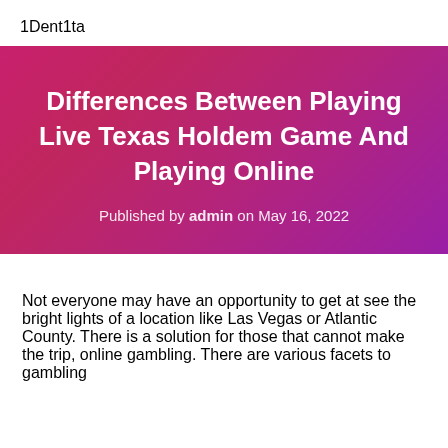1Dent1ta
Differences Between Playing Live Texas Holdem Game And Playing Online
Published by admin on May 16, 2022
Not everyone may have an opportunity to get at see the bright lights of a location like Las Vegas or Atlantic County. There is a solution for those that cannot make the trip, online gambling. There are various facets to gambling